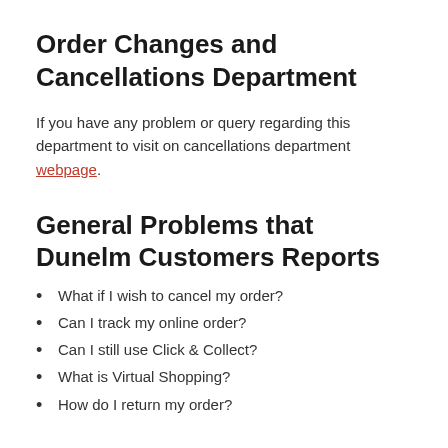Order Changes and Cancellations Department
If you have any problem or query regarding this department to visit on cancellations department webpage.
General Problems that Dunelm Customers Reports
What if I wish to cancel my order?
Can I track my online order?
Can I still use Click & Collect?
What is Virtual Shopping?
How do I return my order?